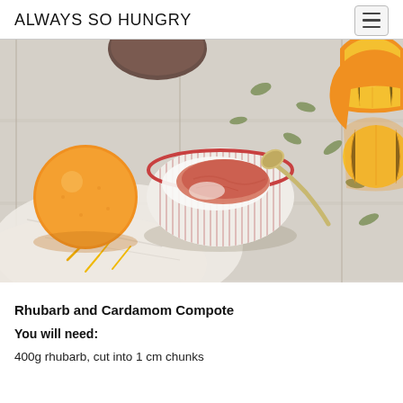ALWAYS SO HUNGRY
[Figure (photo): Food photography: a striped bowl with red-rimmed rim containing rhubarb compote on white yogurt with a vintage spoon, surrounded by oranges (one whole, two halved), a white linen cloth with yellow citrus zest, and cardamom pods scattered on a weathered white wood surface.]
Rhubarb and Cardamom Compote
You will need:
400g rhubarb, cut into 1 cm chunks